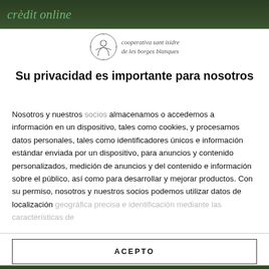[Figure (photo): Dark green background banner with italic green text reading 'crèdit online']
[Figure (logo): Cooperativa Sant Isidre de les Borges Blanques logo — circular emblem with illustrated figure, accompanied by italic serif text]
Su privacidad es importante para nosotros
Nosotros y nuestros socios almacenamos o accedemos a información en un dispositivo, tales como cookies, y procesamos datos personales, tales como identificadores únicos e información estándar enviada por un dispositivo, para anuncios y contenido personalizados, medición de anuncios y del contenido e información sobre el público, así como para desarrollar y mejorar productos. Con su permiso, nosotros y nuestros socios podemos utilizar datos de localización geográfica precisa e identificación mediante las características de
ACEPTO
MÁS OPCIONES
[Figure (photo): Dark green background image at the bottom of the page]